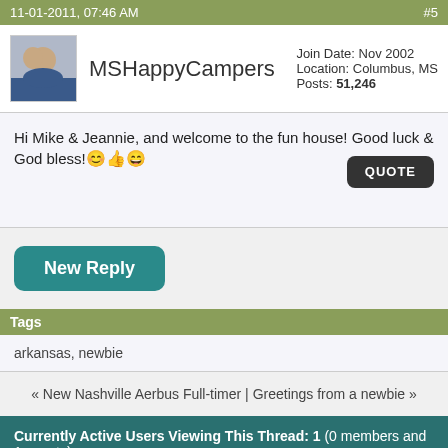11-01-2011, 07:46 AM   #5
MSHappyCampers
Join Date: Nov 2002
Location: Columbus, MS
Posts: 51,246
Hi Mike & Jeannie, and welcome to the fun house! Good luck & God bless!
New Reply
Tags
arkansas, newbie
« New Nashville Aerbus Full-timer | Greetings from a newbie »
Currently Active Users Viewing This Thread: 1 (0 members and 1 guests)